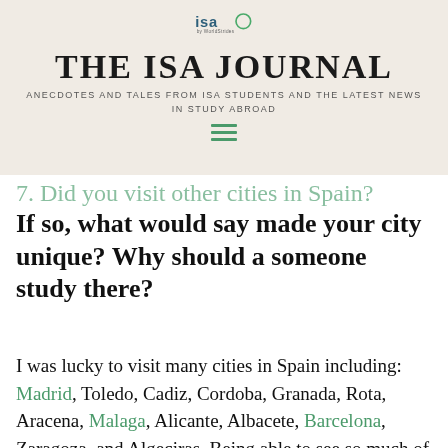[Figure (logo): ISA by WorldStrides logo with green circle]
THE ISA JOURNAL
ANECDOTES AND TALES FROM ISA STUDENTS AND THE LATEST NEWS IN STUDY ABROAD
7. Did you visit other cities in Spain?
If so, what would say made your city unique? Why should a someone study there?
I was lucky to visit many cities in Spain including: Madrid, Toledo, Cadiz, Cordoba, Granada, Rota, Aracena, Malaga, Alicante, Albacete, Barcelona, Zaragoza, and Algeciras. Being able to see so much of Spain made me so happy with my decision to study